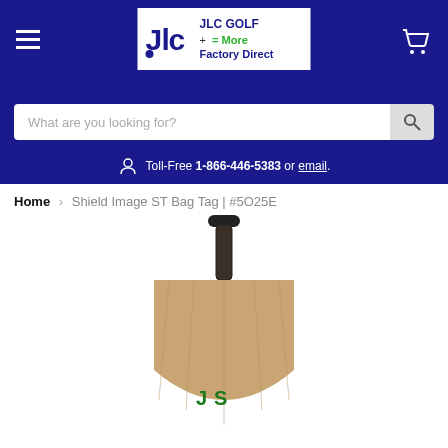[Figure (logo): JLC Golf Factory Direct logo in white box with dark blue text and green 'More' text]
What are you looking for?
Toll-Free 1-866-446-5383 or email.
Home > Shield Image ST Bag Tag | #5O25E
[Figure (photo): Shield Image ST Bag Tag product photo showing a wooden paddle-shaped bag tag with a black strap/clip at the top and green logo at the bottom, partially cropped]